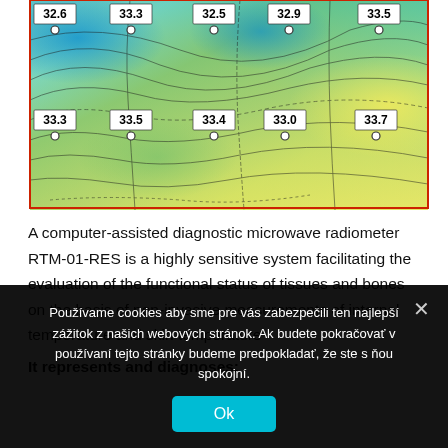[Figure (continuous-plot): Thermal contour map (microwave radiometer RTM-01-RES output) showing temperature distribution across a body region. Color gradient from blue (cooler) to yellow-green (warmer). Ten labeled sensor points with white circle markers: top row values 32.6, 33.3, 32.5, 32.9, 33.5; bottom row values 33.3, 33.5, 33.4, 33.0, 33.7. Contour lines overlay the color map.]
A computer-assisted diagnostic microwave radiometer RTM-01-RES is a highly sensitive system facilitating the evaluation of the functional status of tissues and bones on the basis of non-invasive measurements of internal temperature and skin temperature
It represents and diagnoses:
Používame cookies aby sme pre vás zabezpečili ten najlepší zážitok z našich webových stránok. Ak budete pokračovať v používaní tejto stránky budeme predpokladať, že ste s ňou spokojní.